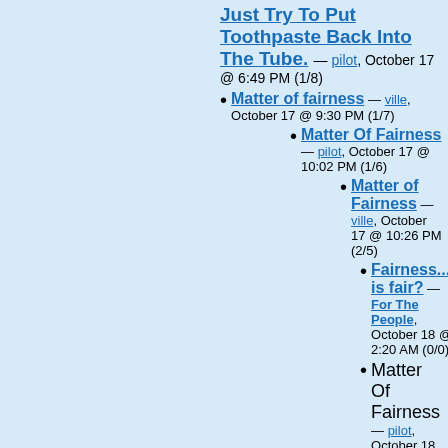Just Try To Put Toothpaste Back Into The Tube. — pilot, October 17 @ 6:49 PM (1/8)
Matter of fairness — ville, October 17 @ 9:30 PM (1/7)
Matter Of Fairness — pilot, October 17 @ 10:02 PM (1/6)
Matter of Fairness — ville, October 17 @ 10:26 PM (2/5)
Fairness.... is fair? — For The People, October 18 @ 2:20 AM (0/0)
Matter Of Fairness — pilot, October 18 @ 12:09 AM (1/3)
ok — Fo...